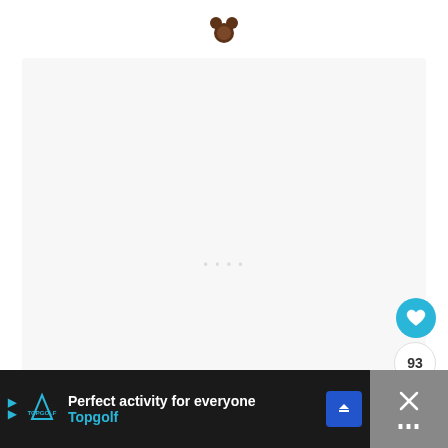[Figure (screenshot): Screenshot of a mobile web page showing a light gray content card area, a teal heart/like button, a count of 93, a share button, and a Topgolf advertisement banner at the bottom on a dark background.]
93
Perfect activity for everyone  Topgolf